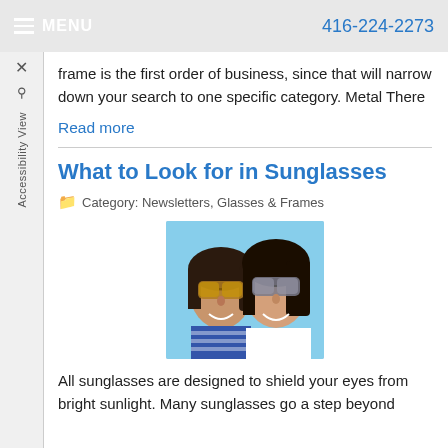MENU   416-224-2273
frame is the first order of business, since that will narrow down your search to one specific category. Metal There
Read more
What to Look for in Sunglasses
Category: Newsletters, Glasses & Frames
[Figure (photo): Two young women wearing sunglasses, smiling, outdoors in bright sunlight]
All sunglasses are designed to shield your eyes from bright sunlight. Many sunglasses go a step beyond